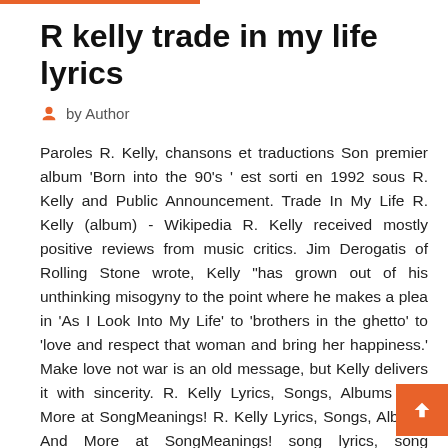R kelly trade in my life lyrics
by Author
Paroles R. Kelly, chansons et traductions Son premier album 'Born into the 90's ' est sorti en 1992 sous R. Kelly and Public Announcement. Trade In My Life R. Kelly (album) - Wikipedia R. Kelly received mostly positive reviews from music critics. Jim Derogatis of Rolling Stone wrote, Kelly "has grown out of his unthinking misogyny to the point where he makes a plea in 'As I Look Into My Life' to 'brothers in the ghetto' to 'love and respect that woman and bring her happiness.' Make love not war is an old message, but Kelly delivers it with sincerity. R. Kelly Lyrics, Songs, Albums And More at SongMeanings! R. Kelly Lyrics, Songs, Albums And More at SongMeanings! song lyrics, song meanings, albums, music and more. R. Kelly Lyrics, Songs, Albums And More at SongMeanings! and more and more added for the